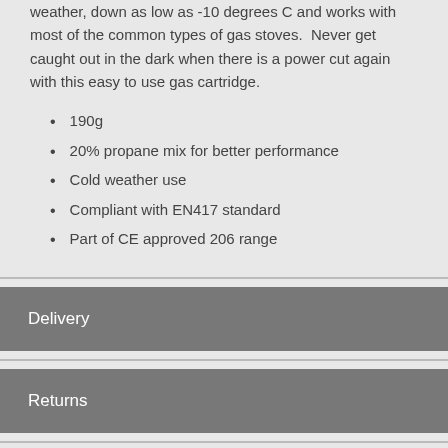weather, down as low as -10 degrees C and works with most of the common types of gas stoves. Never get caught out in the dark when there is a power cut again with this easy to use gas cartridge.
190g
20% propane mix for better performance
Cold weather use
Compliant with EN417 standard
Part of CE approved 206 range
Delivery
Returns
Price Promise